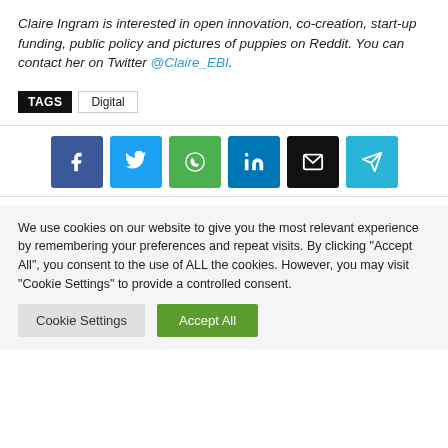Claire Ingram is interested in open innovation, co-creation, start-up funding, public policy and pictures of puppies on Reddit. You can contact her on Twitter @Claire_EBI.
TAGS  Digital
[Figure (infographic): Social share buttons: Facebook (blue), Twitter (light blue), WhatsApp (green), LinkedIn (dark blue), Email (black), Telegram (cyan)]
We use cookies on our website to give you the most relevant experience by remembering your preferences and repeat visits. By clicking "Accept All", you consent to the use of ALL the cookies. However, you may visit "Cookie Settings" to provide a controlled consent.